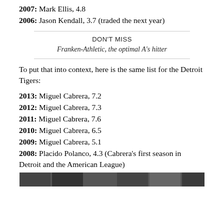2007: Mark Ellis, 4.8
2006: Jason Kendall, 3.7 (traded the next year)
DON'T MISS
Franken-Athletic, the optimal A's hitter
To put that into context, here is the same list for the Detroit Tigers:
2013: Miguel Cabrera, 7.2
2012: Miguel Cabrera, 7.3
2011: Miguel Cabrera, 7.6
2010: Miguel Cabrera, 6.5
2009: Miguel Cabrera, 5.1
2008: Placido Polanco, 4.3 (Cabrera's first season in Detroit and the American League)
[Figure (photo): Bottom strip of a photo/table image, partially visible at bottom of page]